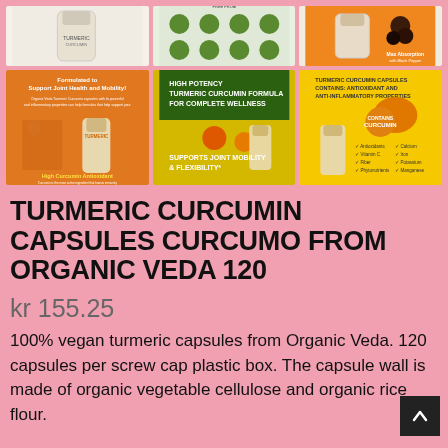[Figure (photo): Grid of 6 product images for Turmeric Curcumin capsules showing supplement bottles, infographics, and lifestyle photos on orange/yellow/green backgrounds]
TURMERIC CURCUMIN CAPSULES CURCUMO FROM ORGANIC VEDA 120
kr 155.25
100% vegan turmeric capsules from Organic Veda. 120 capsules per screw cap plastic box. The capsule wall is made of organic vegetable cellulose and organic rice flour.